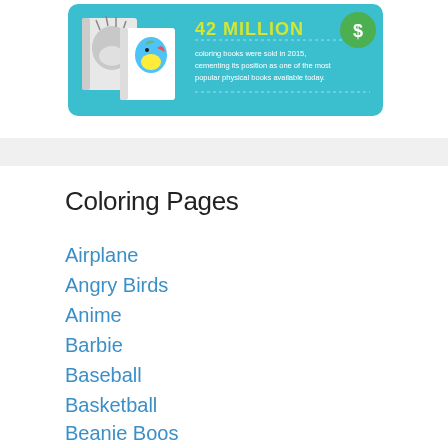[Figure (infographic): Teal/cyan banner infographic showing adult coloring books with text '42 MILLION coloring books were sold in 2015, cementing its position as one of the most popular physical books available today.' and a dollar sign circle icon. Two coloring book images shown on left.]
Coloring Pages
Airplane
Angry Birds
Anime
Barbie
Baseball
Basketball
Beanie Boos
Bears